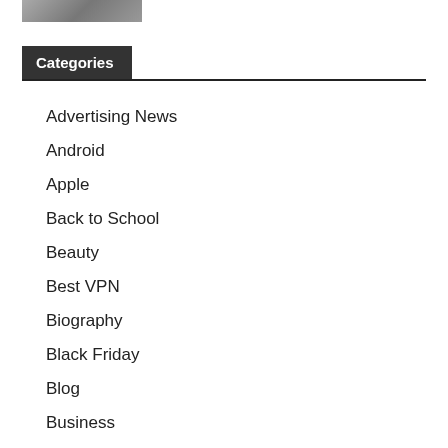[Figure (photo): Partial image of a person, cropped at top of page]
Categories
Advertising News
Android
Apple
Back to School
Beauty
Best VPN
Biography
Black Friday
Blog
Business
Cars & Vehicles
CBD